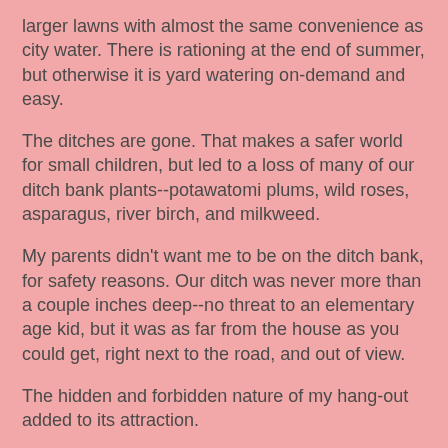larger lawns with almost the same convenience as city water. There is rationing at the end of summer, but otherwise it is yard watering on-demand and easy.
The ditches are gone. That makes a safer world for small children, but led to a loss of many of our ditch bank plants--potawatomi plums, wild roses, asparagus, river birch, and milkweed.
My parents didn't want me to be on the ditch bank, for safety reasons. Our ditch was never more than a couple inches deep--no threat to an elementary age kid, but it was as far from the house as you could get, right next to the road, and out of view.
The hidden and forbidden nature of my hang-out added to its attraction.
I had plenty of dolls lying neglected in the house, but when outdoors I made my own. Inch-long pieces of straw were dressed in leaves or wilted flower petals. Their lives were very dramatic and affected by the part of the yard in which I